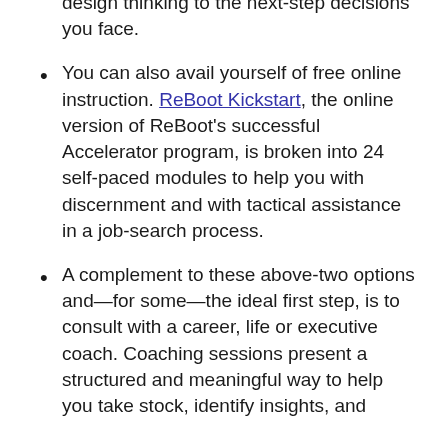design thinking to the next-step decisions you face.
You can also avail yourself of free online instruction. ReBoot Kickstart, the online version of ReBoot's successful Accelerator program, is broken into 24 self-paced modules to help you with discernment and with tactical assistance in a job-search process.
A complement to these above-two options and—for some—the ideal first step, is to consult with a career, life or executive coach. Coaching sessions present a structured and meaningful way to help you take stock, identify insights, and